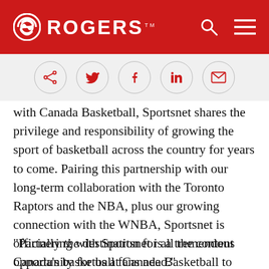ROGERS
[Figure (other): Social share buttons: share, Twitter, Facebook, LinkedIn, email]
with Canada Basketball, Sportsnet shares the privilege and responsibility of growing the sport of basketball across the country for years to come. Pairing this partnership with our long-term collaboration with the Toronto Raptors and the NBA, plus our growing connection with the WNBA, Sportsnet is officially the destination for all the content Canada’s basketball fans need.”
“Partnering with Sportsnet is a tremendous opportunity for us at Canada Basketball to bring the